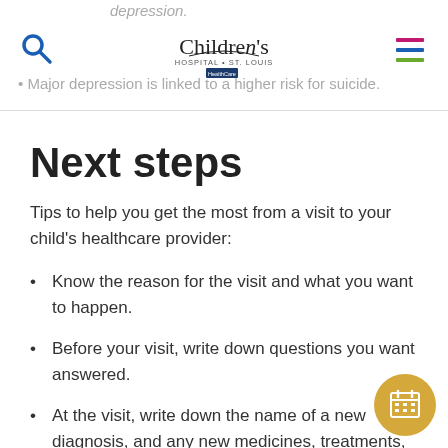depression. | Children's Hospital St. Louis | Major depression is linked to a higher risk for suicide.
Next steps
Tips to help you get the most from a visit to your child's healthcare provider:
Know the reason for the visit and what you want to happen.
Before your visit, write down questions you want answered.
At the visit, write down the name of a new diagnosis, and any new medicines, treatments, or